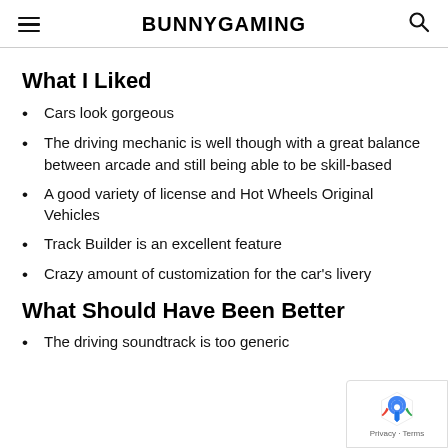BUNNYGAMING
What I Liked
Cars look gorgeous
The driving mechanic is well though with a great balance between arcade and still being able to be skill-based
A good variety of license and Hot Wheels Original Vehicles
Track Builder is an excellent feature
Crazy amount of customization for the car's livery
What Should Have Been Better
The driving soundtrack is too generic